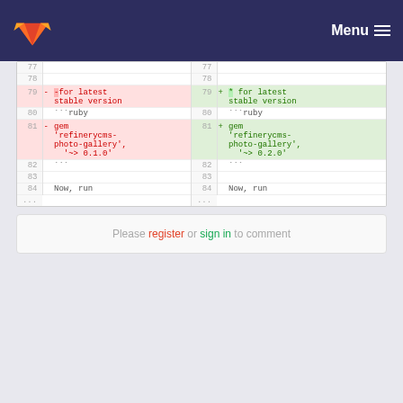GitLab — Menu
| ln-left | op-left | code-left | ln-right | op-right | code-right |
| --- | --- | --- | --- | --- | --- |
| 77 |  |  | 77 |  |  |
| 78 |  |  | 78 |  |  |
| 79 | - | -for latest stable version | 79 | + | * for latest stable version |
| 80 |  | """ruby | 80 |  | """ruby |
| 81 | - | gem 'refinerycms-photo-gallery', '~> 0.1.0' | 81 | + | gem 'refinerycms-photo-gallery', '~> 0.2.0' |
| 82 |  | """ | 82 |  | """ |
| 83 |  |  | 83 |  |  |
| 84 |  | Now, run | 84 |  | Now, run |
| ... |  |  | ... |  |  |
Please register or sign in to comment